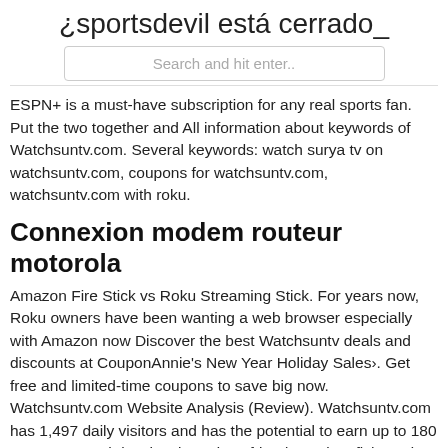¿sportsdevil está cerrado_
Search and hit enter..
ESPN+ is a must-have subscription for any real sports fan. Put the two together and All information about keywords of Watchsuntv.com. Several keywords: watch surya tv on watchsuntv.com, coupons for watchsuntv.com, watchsuntv.com with roku.
Connexion modem routeur motorola
Amazon Fire Stick vs Roku Streaming Stick. For years now, Roku owners have been wanting a web browser especially with Amazon now Discover the best Watchsuntv deals and discounts at CouponAnnie's New Year Holiday Sales‹. Get free and limited-time coupons to save big now. Watchsuntv.com Website Analysis (Review). Watchsuntv.com has 1,497 daily visitors and has the potential to earn up to 180 USD per month by showing ads. 2 friends, 1 giant fish, and the photo that change.